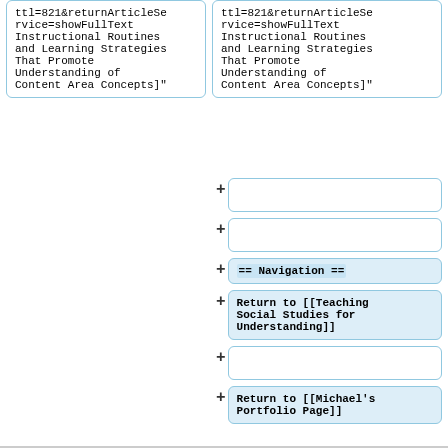ttl=821&returnArticleService=showFullText Instructional Routines and Learning Strategies That Promote Understanding of Content Area Concepts]"
ttl=821&returnArticleService=showFullText Instructional Routines and Learning Strategies That Promote Understanding of Content Area Concepts]"
== Navigation ==
Return to [[Teaching Social Studies for Understanding]]
Return to [[Michael's Portfolio Page]]